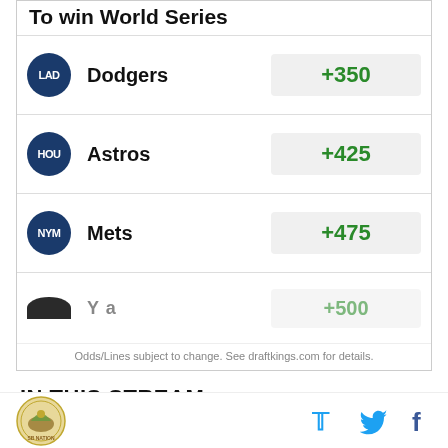To win World Series
| Team | Odds |
| --- | --- |
| Dodgers | +350 |
| Astros | +425 |
| Mets | +475 |
| Yankees (partial) | +500 |
Odds/Lines subject to change. See draftkings.com for details.
IN THIS STREAM
Colorado Rockies: Trade rumors, transactions, news, notes
Rockies sign Desmond to 5-year, $70M deal